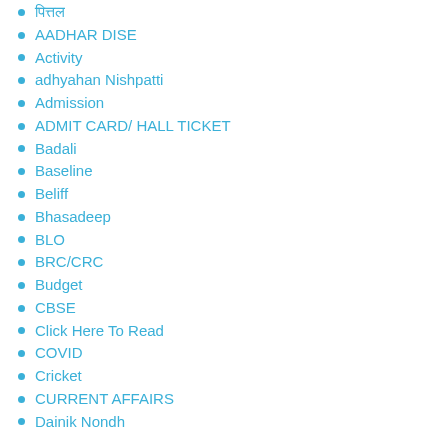पित्तल
AADHAR DISE
Activity
adhyahan Nishpatti
Admission
ADMIT CARD/ HALL TICKET
Badali
Baseline
Beliff
Bhasadeep
BLO
BRC/CRC
Budget
CBSE
Click Here To Read
COVID
Cricket
CURRENT AFFAIRS
Dainik Nondh